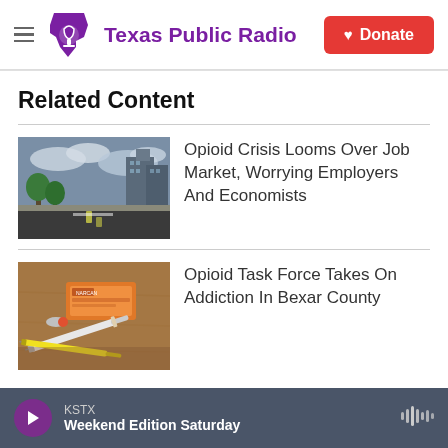Texas Public Radio | Donate
Related Content
[Figure (photo): Street view of a downtown area with buildings and trees under a cloudy sky]
Opioid Crisis Looms Over Job Market, Worrying Employers And Economists
[Figure (photo): Close-up of medical supplies including syringes and medication boxes on a wooden surface]
Opioid Task Force Takes On Addiction In Bexar County
KSTX Weekend Edition Saturday